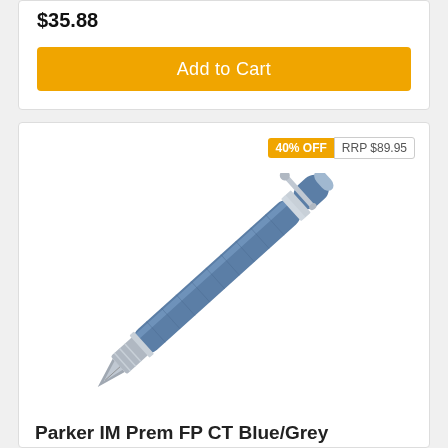$35.88
Add to Cart
[Figure (photo): Parker IM Prem FP CT Blue/Grey fountain pen, diagonal orientation, blue-grey lacquer barrel with chrome trim and steel nib]
40% OFF
RRP $89.95
Parker IM Prem FP CT Blue/Grey
$53.83